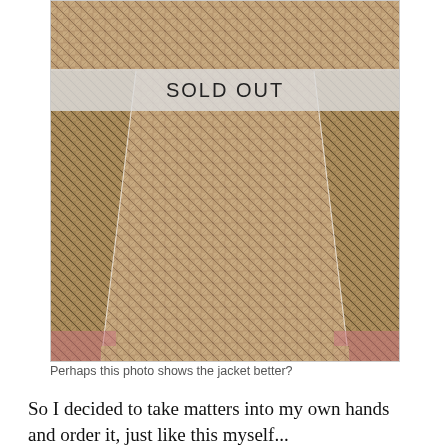[Figure (photo): A close-up photo of a plaid/houndstooth check jacket (tan, brown, black pattern) displayed on a mannequin or model. The jacket appears to have a peplum or flared hem. A semi-transparent 'SOLD OUT' banner overlays the top portion of the image.]
Perhaps this photo shows the jacket better?
So I decided to take matters into my own hands and order it, just like this myself...